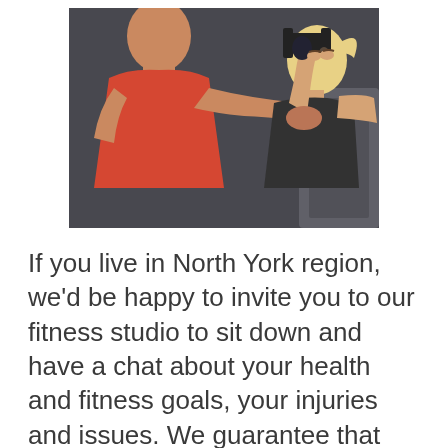[Figure (photo): A male personal trainer in a red tank top assisting a blonde female client doing a dumbbell curl exercise at a gym. The trainer is holding her elbow to guide her form.]
If you live in North York region, we'd be happy to invite you to our fitness studio to sit down and have a chat about your health and fitness goals, your injuries and issues. We guarantee that you'll leave here with a better feeling. Our